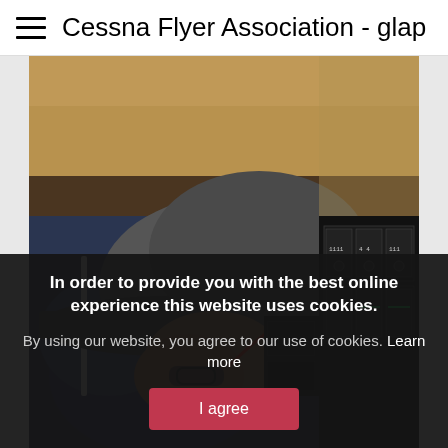Cessna Flyer Association - glap
[Figure (photo): Person wearing a baseball cap leaning over an aircraft instrument panel/dashboard, examining avionics equipment. Multiple radio/avionics units visible on the right side.]
In order to provide you with the best online experience this website uses cookies.
By using our website, you agree to our use of cookies. Learn more
I agree